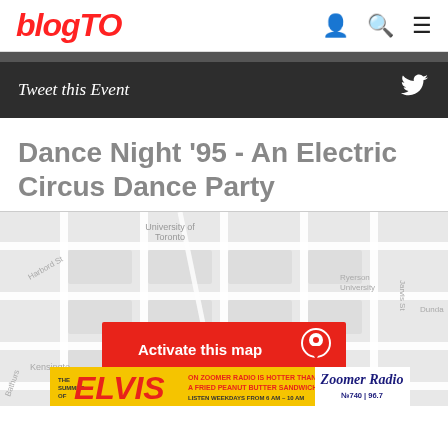blogTO
Tweet this Event
Dance Night '95 - An Electric Circus Dance Party
[Figure (map): Street map of Toronto showing University of Toronto, Kensington Market, Ryerson University, Harbord St, College St, with an 'Activate this map' overlay button and a Zoomer Radio advertisement banner at the bottom]